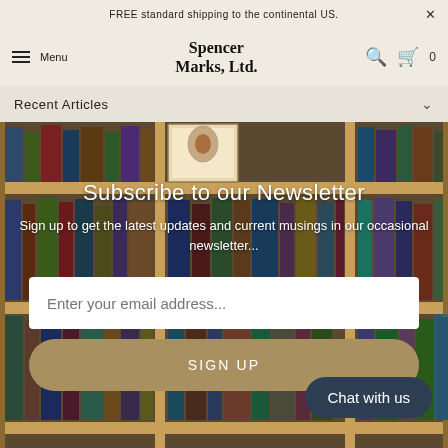FREE standard shipping to the continental US.
Spencer Marks, Ltd. — Menu / Search / Cart 0
Recent Articles
[Figure (photo): Background photo of wooden bookshelves filled with books]
Subscribe to our Newsletter
Sign up to get the latest updates and current musings in our occasional newsletter...
Enter your email address...
SIGN UP
Chat with us